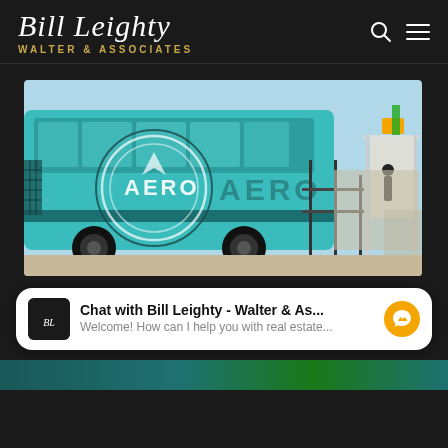[Figure (logo): Bill Leighty Walter & Associates logo with script font and subtitle in gold]
[Figure (photo): A teal/turquoise AERO branded bus at a transit stop with railing and canopy structure visible]
Chat with Bill Leighty - Walter & As...
Welcome! How can I help you with real estate...